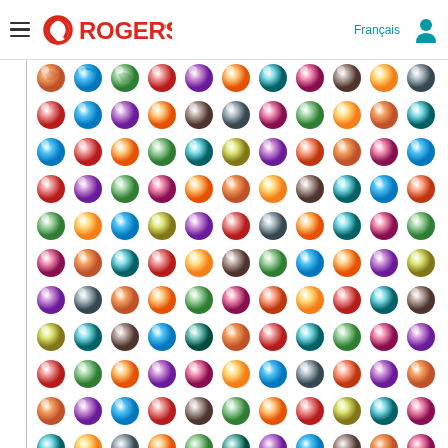Rogers navigation bar with hamburger menu, Rogers logo, Français link, and user icon
[Figure (photo): A dense grid of colorful decorative marbles/balls arranged in rows, each marble showing unique multicolored swirl and pattern designs. The marbles fill the entire content area below the navigation bar.]